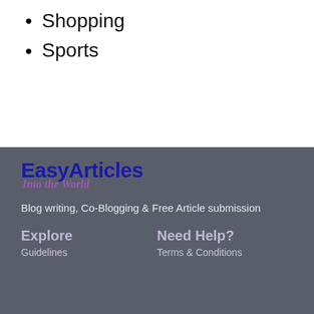Shopping
Sports
[Figure (logo): EasyArticles logo with tagline 'Into the World' in purple italic script]
Blog writing, Co-Blogging & Free Article submission
Explore
Need Help?
Guidelines
Terms & Conditions